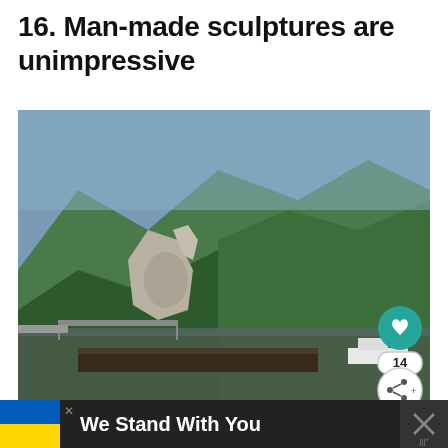16. Man-made sculptures are unimpressive
[Figure (photo): Photograph of Decebal's Statue carved into a rocky cliff face on the banks of the Danube River near Orsova, Romania. The large stone face sculpture is visible on the left cliff, surrounded by dense green forested mountains. A river runs through the gorge with barges on the water, and a bridge is visible in the middle distance. Overlaid UI elements include a teal heart/like button, a share button, and the number 14.]
Decebal's Statue in Orsova / Wikipedia
We Stand With You